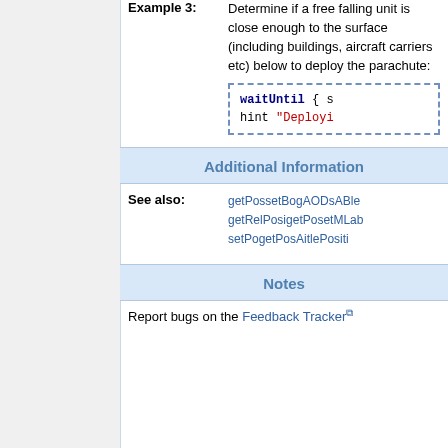Example 3: Determine if a free falling unit is close enough to the surface (including buildings, aircraft carriers etc) below to deploy the parachute:
Additional Information
See also: getPos setBogAODsABle getRelPositgetPosGla setPo getPos Aitle Positi
Notes
Report bugs on the Feedback Tracker